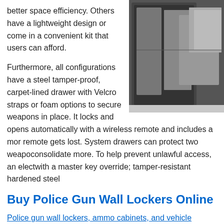better space efficiency. Others have a lightweight design or come in a convenient kit that users can afford.
[Figure (photo): Photo of a vehicle weapon storage system or gun locker mounted in a car trunk/cargo area, showing a dark interior with a door or panel open.]
Furthermore, all configurations have a steel tamper-proof, carpet-lined drawer with Velcro straps or foam options to secure weapons in place. It locks and opens automatically with a wireless remote and includes a m... or remote gets lost. System drawers can protect two weapo... consolidate more. To help prevent unlawful access, an elect... with a master key override; tamper-resistant hardened steel...
Buy Police Gun Wall Lockers Online
Police gun wall lockers, ammo cabinets, and vehicle weapo... and ship within two to four weeks. If you need any assistanc... right solution for you, please call us at 1-855-786-7667.
Share / Save